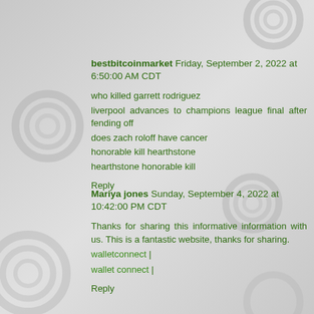bestbitcoinmarket Friday, September 2, 2022 at 6:50:00 AM CDT
who killed garrett rodriguez
liverpool advances to champions league final after fending off
does zach roloff have cancer
honorable kill hearthstone
hearthstone honorable kill
Reply
Mariya jones Sunday, September 4, 2022 at 10:42:00 PM CDT
Thanks for sharing this informative information with us. This is a fantastic website, thanks for sharing.
walletconnect |
wallet connect |
Reply